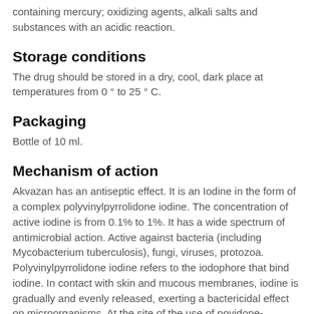containing mercury; oxidizing agents, alkali salts and substances with an acidic reaction.
Storage conditions
The drug should be stored in a dry, cool, dark place at temperatures from 0 ° to 25 ° C.
Packaging
Bottle of 10 ml.
Mechanism of action
Akvazan has an antiseptic effect. It is an Iodine in the form of a complex polyvinylpyrrolidone iodine. The concentration of active iodine is from 0.1% to 1%. It has a wide spectrum of antimicrobial action. Active against bacteria (including Mycobacterium tuberculosis), fungi, viruses, protozoa. Polyvinylpyrrolidone iodine refers to the iodophore that bind iodine. In contact with skin and mucous membranes, iodine is gradually and evenly released, exerting a bactericidal effect on microorganisms. At the site of the use of povidone-